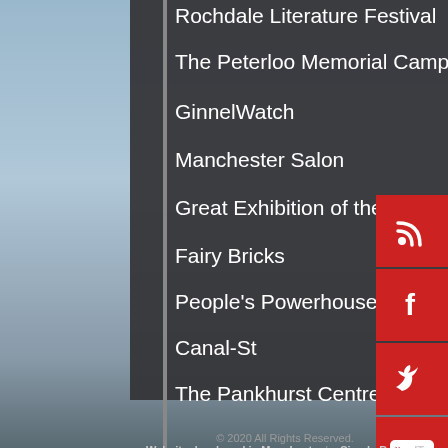Rochdale Literature Festival
The Peterloo Memorial Campaign
GinnelWatch
Manchester Salon
Great Exhibition of the North
Fairy Bricks
People's Powerhouse
Canal-St
The Pankhurst Centre
© 2020 All Rights Reserved. Website developed in Manchester by Simply Better IT